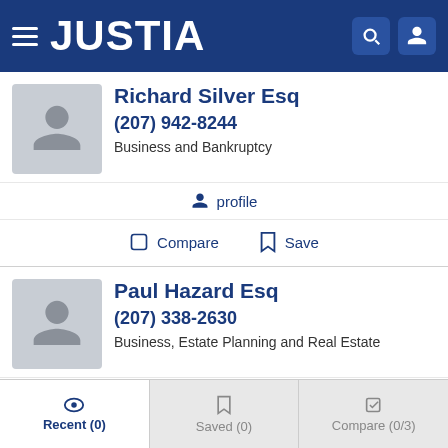JUSTIA
Richard Silver Esq
(207) 942-8244
Business and Bankruptcy
profile
Compare   Save
Paul Hazard Esq
(207) 338-2630
Business, Estate Planning and Real Estate
profile
Compare   Save
Recent (0)   Saved (0)   Compare (0/3)